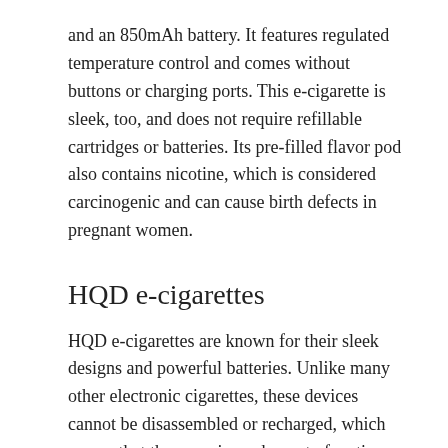and an 850mAh battery. It features regulated temperature control and comes without buttons or charging ports. This e-cigarette is sleek, too, and does not require refillable cartridges or batteries. Its pre-filled flavor pod also contains nicotine, which is considered carcinogenic and can cause birth defects in pregnant women.
HQD e-cigarettes
HQD e-cigarettes are known for their sleek designs and powerful batteries. Unlike many other electronic cigarettes, these devices cannot be disassembled or recharged, which means that they require a charge to function. Moreover, users can choose from a variety of flavors that are available in HQD e-cigarettes. Listed below are the top 5 flavors that HQD has to offer.